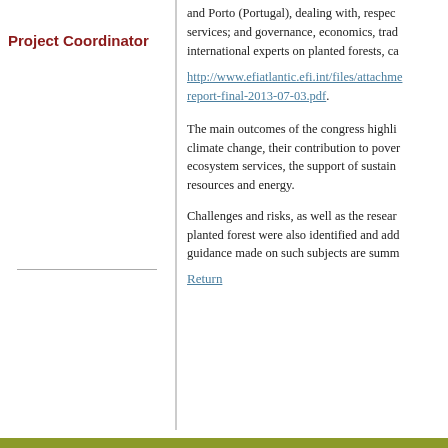Project Coordinator
and Porto (Portugal), dealing with, respectively, services; and governance, economics, trade, international experts on planted forests, ca
http://www.efiatlantic.efi.int/files/attachme report-final-2013-07-03.pdf.
The main outcomes of the congress highlights climate change, their contribution to poverty ecosystem services, the support of sustainable resources and energy.
Challenges and risks, as well as the research planted forest were also identified and addressed. guidance made on such subjects are summarized.
Return